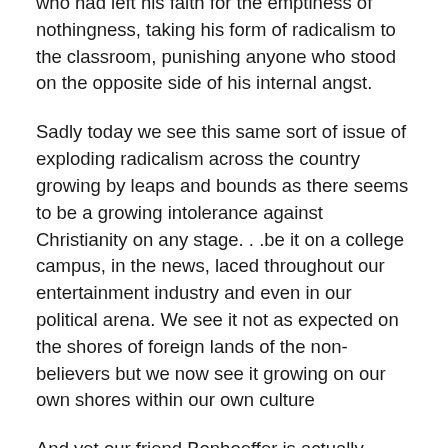who had left his faith for the emptiness of nothingness, taking his form of radicalism to the classroom, punishing anyone who stood on the opposite side of his internal angst.
Sadly today we see this same sort of issue of exploding radicalism across the country growing by leaps and bounds as there seems to be a growing intolerance against Christianity on any stage. . .be it on a college campus, in the news, laced throughout our entertainment industry and even in our political arena. We see it not as expected on the shores of foreign lands of the non-believers but we now see it growing on our own shores within our own culture
And yet our friend Bonhoeffer is actually writing into today's lesson of his concern of that same sinister